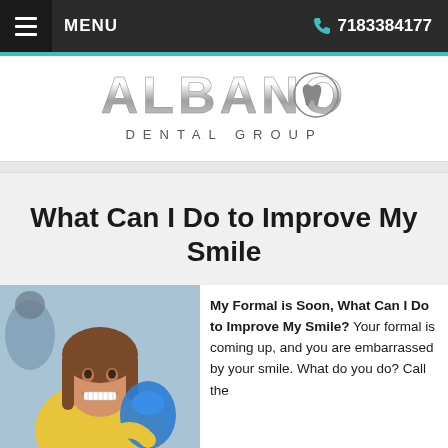MENU  7183384177
[Figure (logo): Albano Dental Group logo in stylized chrome/silver lettering with a tooth icon inside the letter O]
What Can I Do to Improve My Smile
[Figure (photo): Young woman with braces smiling and holding a blue tooth-shaped mirror in a dental office]
My Formal is Soon, What Can I Do to Improve My Smile? Your formal is coming up, and you are embarrassed by your smile. What do you do? Call the